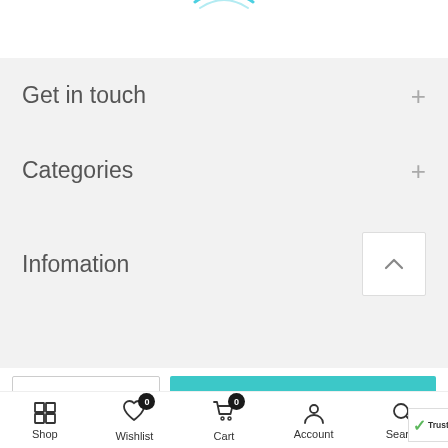[Figure (screenshot): Partial teal/cyan arc logo visible at top center of page]
Get in touch
Categories
Infomation
[Figure (screenshot): Bottom action bar with quantity selector (minus, 1, plus) and ADD TO CART button in teal]
Shop  Wishlist 0  Cart 0  Account  Search